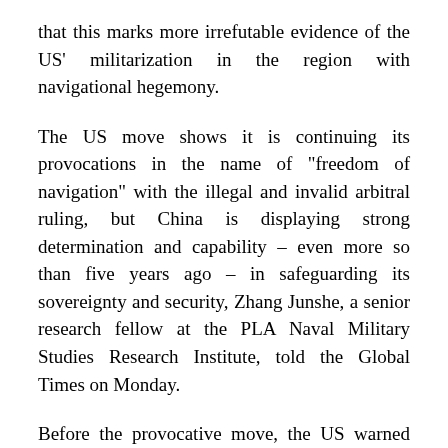that this marks more irrefutable evidence of the US' militarization in the region with navigational hegemony.
The US move shows it is continuing its provocations in the name of "freedom of navigation" with the illegal and invalid arbitral ruling, but China is displaying strong determination and capability – even more so than five years ago – in safeguarding its sovereignty and security, Zhang Junshe, a senior research fellow at the PLA Naval Military Studies Research Institute, told the Global Times on Monday.
Before the provocative move, the US warned China it stands behind the so-called South China Sea ruling in a statement marking the fifth anniversary of the ruling